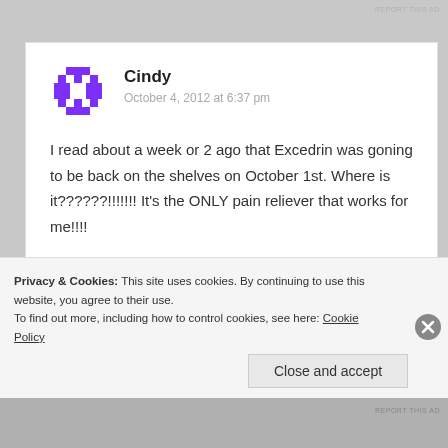REPORT THIS AD
Cindy
October 4, 2012 at 6:37 pm
I read about a week or 2 ago that Excedrin was goning to be back on the shelves on October 1st. Where is it??????!!!!!!! It’s the ONLY pain reliever that works for me!!!!
Like
Privacy & Cookies: This site uses cookies. By continuing to use this website, you agree to their use.
To find out more, including how to control cookies, see here: Cookie Policy
Close and accept